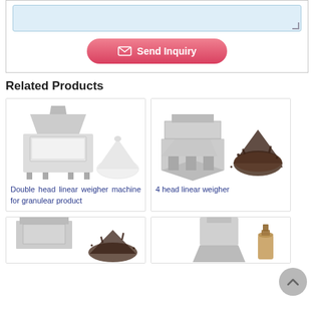[Figure (screenshot): Text area input box (light blue) with resize handle, and a pink 'Send Inquiry' button with envelope icon]
Related Products
[Figure (photo): Double head linear weigher machine with a pile of white granular product]
Double head linear weigher machine for granulear product
[Figure (photo): 4 head linear weigher machine with a pile of dark granular product (tea/tobacco)]
4 head linear weigher
[Figure (photo): Partial view of a weigher machine with granular product spilling]
[Figure (photo): Partial view of another weigher machine]